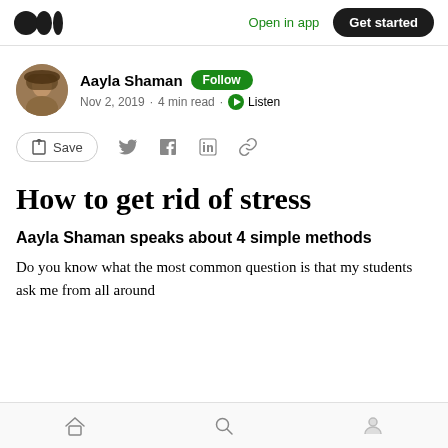Medium logo | Open in app | Get started
Aayla Shaman · Follow · Nov 2, 2019 · 4 min read · Listen
[Figure (other): Save, Twitter, Facebook, LinkedIn, link social share action bar]
How to get rid of stress
Aayla Shaman speaks about 4 simple methods
Do you know what the most common question is that my students ask me from all around
Home, Search, Profile bottom navigation bar